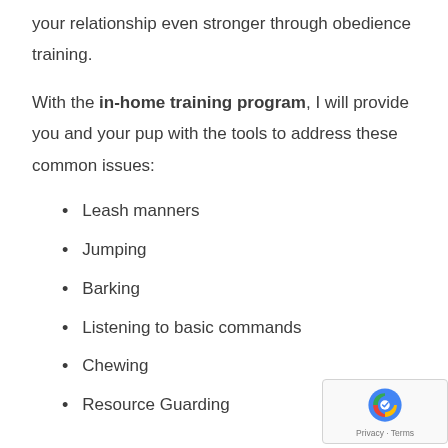your relationship even stronger through obedience training.
With the in-home training program, I will provide you and your pup with the tools to address these common issues:
Leash manners
Jumping
Barking
Listening to basic commands
Chewing
Resource Guarding